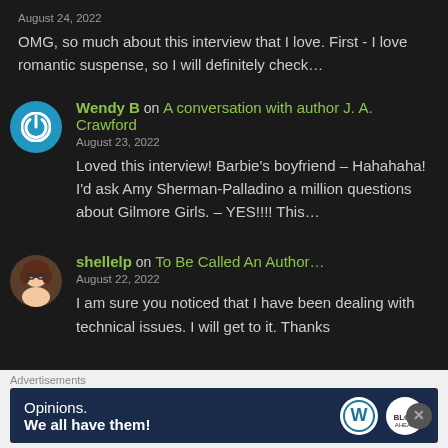August 24, 2022
OMG, so much about this interview that I love. First - I love romantic suspense, so I will definitely check…
Wendy B on A conversation with author J. A. Crawford
August 23, 2022
Loved this interview! Barbie's boyfriend – Hahahaha! I'd ask Amy Sherman-Palladino a million questions about Gilmore Girls. – YES!!!! This…
[Figure (illustration): Avatar icon with blue circular background and white power button symbol]
shellelp on To Be Called An Author…
August 22, 2022
I am sure you noticed that I have been dealing with technical issues. I will get to it. Thanks
[Figure (illustration): Small cartoon avatar of a woman with brown hair and glasses]
Advertisements
[Figure (infographic): WordPress advertisement banner: Opinions. We all have them! with WordPress logo and another circular logo]